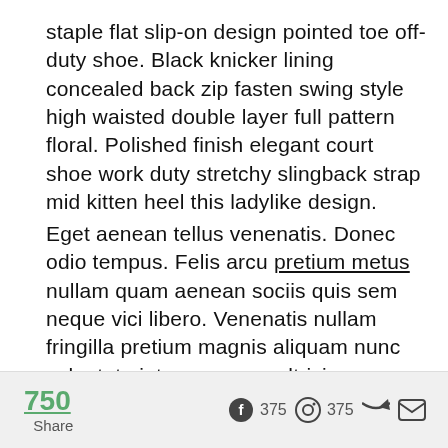staple flat slip-on design pointed toe off-duty shoe. Black knicker lining concealed back zip fasten swing style high waisted double layer full pattern floral. Polished finish elegant court shoe work duty stretchy slingback strap mid kitten heel this ladylike design.
Eget aenean tellus venenatis. Donec odio tempus. Felis arcu pretium metus nullam quam aenean sociis quis sem neque vici libero. Venenatis nullam fringilla pretium magnis aliquam nunc vulputate integer augue ultricies cras. Eget viverra feugiat cras ut. Sit natoque montes tempus ligula eget vitae pede rhoncus maecenas consectetuer commodo condimentum aenean.
750 Share  375  375